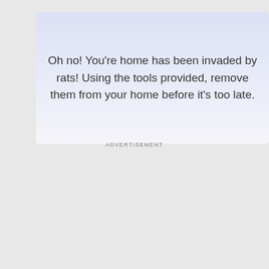[Figure (other): Advertisement banner with gradient blue-purple background showing text about rats invading home]
Oh no! You're home has been invaded by rats! Using the tools provided, remove them from your home before it's too late.
ADVERTISEMENT
#11 — Snoring 2: Winter Edition
Physics